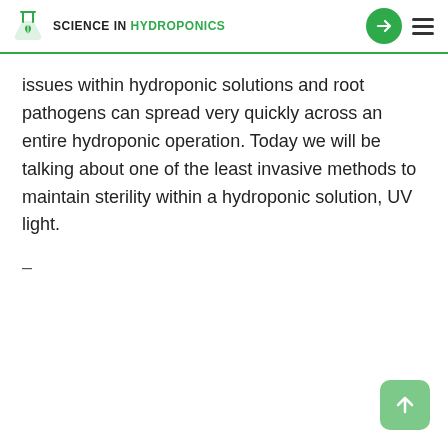SCIENCE IN HYDROPONICS
issues within hydroponic solutions and root pathogens can spread very quickly across an entire hydroponic operation. Today we will be talking about one of the least invasive methods to maintain sterility within a hydroponic solution, UV light.
–